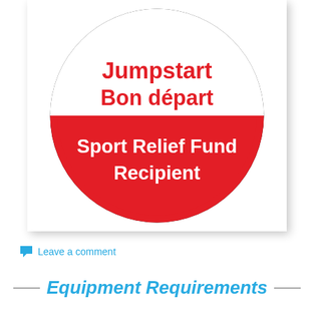[Figure (logo): Jumpstart Bon départ Sport Relief Fund Recipient badge — circular badge with black border, white top half showing red text 'Jumpstart Bon départ', red bottom half showing white bold text 'Sport Relief Fund Recipient']
Leave a comment
Equipment Requirements